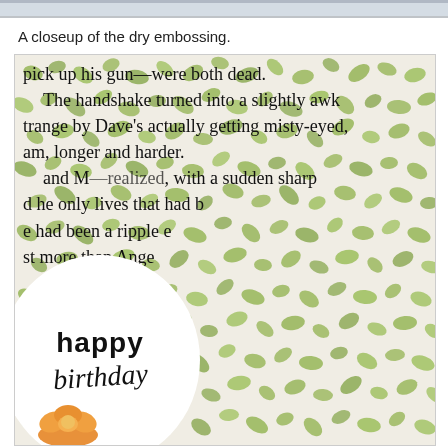[Figure (photo): Top partial image strip showing a grey/blurred top edge]
A closeup of the dry embossing.
[Figure (photo): Close-up photo of a handmade birthday card showing dry embossing with green leaf/floral pattern on white card stock, with book text visible through the embossing. A white circular tag with 'happy birthday' in script is overlaid on the lower left, and an orange flower is partially visible at the bottom left corner.]